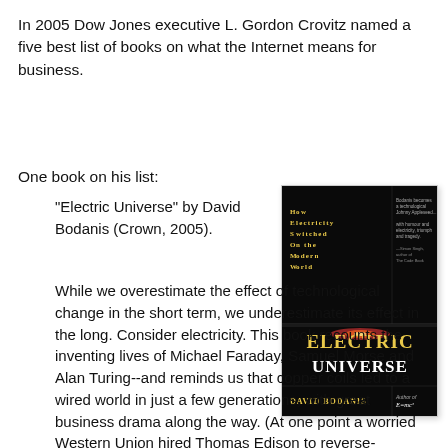In 2005 Dow Jones executive L. Gordon Crovitz named a five best list of books on what the Internet means for business.
One book on his list:
"Electric Universe" by David Bodanis (Crown, 2005).
[Figure (photo): Book cover of 'Electric Universe: How Electricity Switched On the Modern World' by David Bodanis, published by Crown 2005. Black cover with gold and white text.]
While we overestimate the effect of technological change in the short term, we underestimate its effect in the long. Consider electricity. This book recounts the inventing lives of Michael Faraday, Samuel Morse and Alan Turing--and reminds us that copper coils led to a wired world in just a few generations, with great business drama along the way. (At one point a worried Western Union hired Thomas Edison to reverse-engineer Alexander Graham Bell's